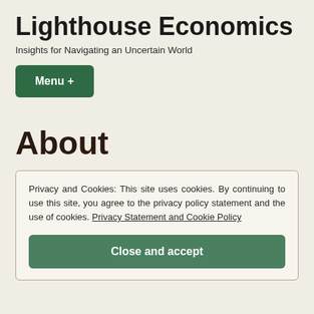Lighthouse Economics
Insights for Navigating an Uncertain World
Menu +
About
Privacy and Cookies: This site uses cookies. By continuing to use this site, you agree to the privacy policy statement and the use of cookies. Privacy Statement and Cookie Policy
Close and accept